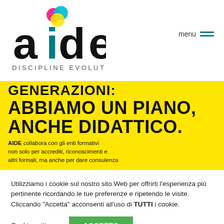[Figure (logo): AIDE Discipline Evolutive logo with colorful circles (magenta, cyan, yellow) and bold black lettering 'aide' with teal 'd', subtitle 'DISCIPLINE EVOLUTIVE']
menu —
[Figure (infographic): Yellow banner with bold black text: partial top line (cut off), 'ABBIAMO UN PIANO, ANCHE DIDATTICO.' and sub-text 'AIDE collabora con gli enti formativi non solo per accrediti, riconoscimenti e altri formali, ma anche per dare consulenza']
Utilizziamo i cookie sul nostro sito Web per offrirti l'esperienza più pertinente ricordando le tue preferenze e ripetendo le visite. Cliccando "Accetta" acconsenti all'uso di TUTTI i cookie.
Cookie settings
ACCETTO